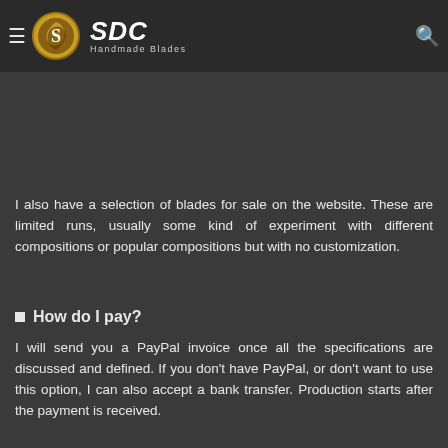SDC Handmade Blades navigation bar
based on your playing style. Then, over a series of emails, we will discuss specifications such as the composition, blade shape, thickness, weight, balance, handle shape and handle design.
I also have a selection of blades for sale on the website. These are limited runs, usually some kind of experiment with different compositions or popular compositions but with no customization.
How do I pay?
I will send you a PayPal invoice once all the specifications are discussed and defined. If you don't have PayPal, or don't want to use this option, I can also accept a bank transfer. Production starts after the payment is received.